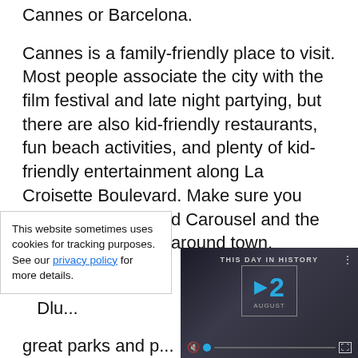Cannes or Barcelona.
Cannes is a family-friendly place to visit. Most people associate the city with the film festival and late night partying, but there are also kid-friendly restaurants, fun beach activities, and plenty of kid-friendly entertainment along La Croisette Boulevard. Make sure you check out the Grand Carousel and the many playgrounds around town.
Barcelona is a ve... visit. Check out th...
[Figure (screenshot): Video overlay showing 'THIS DAY IN HISTORY' with the date 12 AUGUST, video controls including mute button, progress bar, and fullscreen icon]
This website sometimes uses cookies for tracking purposes. See our privacy policy for more details.
great parks and p...